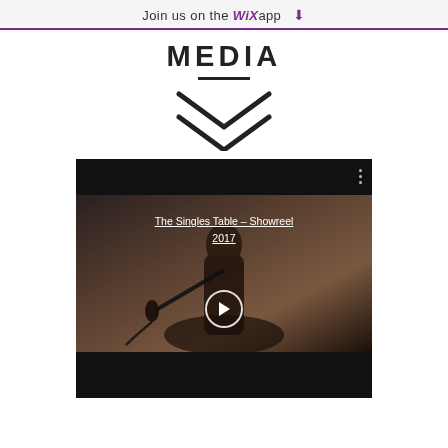Join us on the WiX app ⬇
MEDIA
[Figure (illustration): Decorative chevron/double-arrow down indicator with a horizontal divider line above it]
[Figure (screenshot): Video player thumbnail showing a man singing into a microphone in dark/moody lighting, with overlay text 'The Singles Table – Showreel 2017', a play button circle in the center, three-dot menu top right, and black bars top and bottom.]